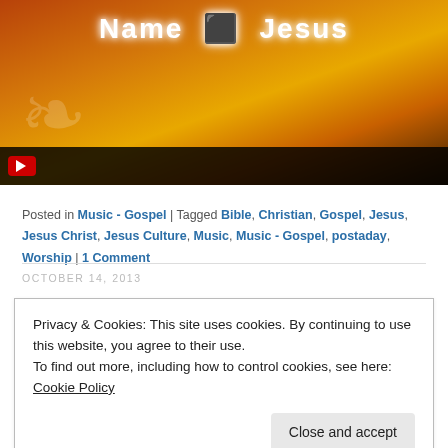[Figure (screenshot): Video thumbnail showing decorative floral artwork on a warm orange/red gradient background with white text reading 'Name [YouTube logo] Jesus' and a video player bar at the bottom.]
Posted in Music - Gospel | Tagged Bible, Christian, Gospel, Jesus, Jesus Christ, Jesus Culture, Music, Music - Gospel, postaday, Worship | 1 Comment
OCTOBER 14, 2013
Privacy & Cookies: This site uses cookies. By continuing to use this website, you agree to their use.
To find out more, including how to control cookies, see here: Cookie Policy
Close and accept